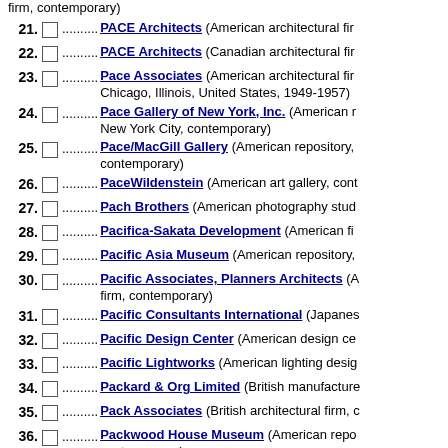20. (continued) firm, contemporary)
21. PACE Architects (American architectural firm, contemporary)
22. PACE Architects (Canadian architectural firm, contemporary)
23. Pace Associates (American architectural firm, Chicago, Illinois, United States, 1949-1957)
24. Pace Gallery of New York, Inc. (American museum, New York City, contemporary)
25. Pace/MacGill Gallery (American repository, contemporary)
26. PaceWildenstein (American art gallery, contemporary)
27. Pach Brothers (American photography studio, contemporary)
28. Pacifica-Sakata Development (American firm, contemporary)
29. Pacific Asia Museum (American repository, contemporary)
30. Pacific Associates, Planners Architects (American architectural firm, contemporary)
31. Pacific Consultants International (Japanese firm, contemporary)
32. Pacific Design Center (American design center, contemporary)
33. Pacific Lightworks (American lighting design firm, contemporary)
34. Packard & Org Limited (British manufacturer, contemporary)
35. Pack Associates (British architectural firm, contemporary)
36. Packwood House Museum (American repository, contemporary)
37. Paczowski & Fritsch (Luxembourgeois architectural firm, contemporary)
38. (partial) ...